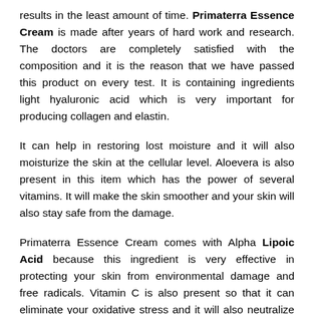results in the least amount of time. Primaterra Essence Cream is made after years of hard work and research. The doctors are completely satisfied with the composition and it is the reason that we have passed this product on every test. It is containing ingredients light hyaluronic acid which is very important for producing collagen and elastin.
It can help in restoring lost moisture and it will also moisturize the skin at the cellular level. Aloevera is also present in this item which has the power of several vitamins. It will make the skin smoother and your skin will also stay safe from the damage.
Primaterra Essence Cream comes with Alpha Lipoic Acid because this ingredient is very effective in protecting your skin from environmental damage and free radicals. Vitamin C is also present so that it can eliminate your oxidative stress and it will also neutralize all the free radicals. Vitamin A is also present which can reduce most of your aging problems.